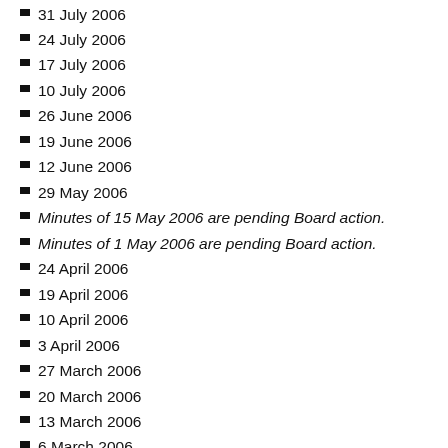31 July 2006
24 July 2006
17 July 2006
10 July 2006
26 June 2006
19 June 2006
12 June 2006
29 May 2006
Minutes of 15 May 2006 are pending Board action.
Minutes of 1 May 2006 are pending Board action.
24 April 2006
19 April 2006
10 April 2006
3 April 2006
27 March 2006
20 March 2006
13 March 2006
6 March 2006
27 February 2006
20 February 2006
13 February 2006
6 February 2006
30 January 2006
23 January 2006
16 January 2006
8 January 2006